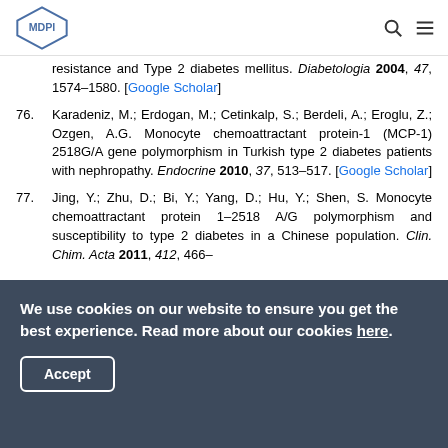MDPI
resistance and Type 2 diabetes mellitus. Diabetologia 2004, 47, 1574–1580. [Google Scholar]
76. Karadeniz, M.; Erdogan, M.; Cetinkalp, S.; Berdeli, A.; Eroglu, Z.; Ozgen, A.G. Monocyte chemoattractant protein-1 (MCP-1) 2518G/A gene polymorphism in Turkish type 2 diabetes patients with nephropathy. Endocrine 2010, 37, 513–517. [Google Scholar]
77. Jing, Y.; Zhu, D.; Bi, Y.; Yang, D.; Hu, Y.; Shen, S. Monocyte chemoattractant protein 1–2518 A/G polymorphism and susceptibility to type 2 diabetes in a Chinese population. Clin. Chim. Acta 2011, 412, 466–
We use cookies on our website to ensure you get the best experience. Read more about our cookies here.